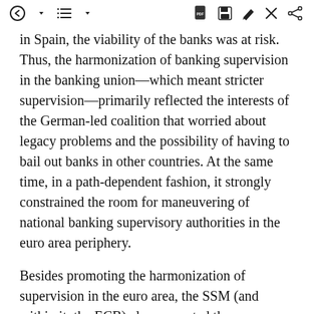[toolbar UI]
in Spain, the viability of the banks was at risk. Thus, the harmonization of banking supervision in the banking union—which meant stricter supervision—primarily reflected the interests of the German-led coalition that worried about legacy problems and the possibility of having to bail out banks in other countries. At the same time, in a path-dependent fashion, it strongly constrained the room for maneuvering of national banking supervisory authorities in the euro area periphery.
Besides promoting the harmonization of supervision in the euro area, the SSM (and within it, the ECB) also promoted the harmonization of regulation, to be precise, the EU banking rulebook,